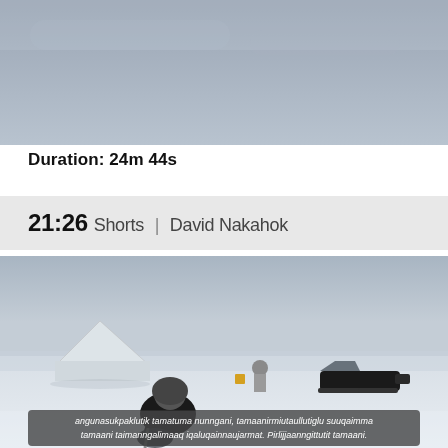[Figure (photo): Top portion of a photo showing a grey overcast sky, bottom part cropped]
Duration: 24m 44s
21:26 Shorts | David Nakahok
[Figure (photo): Winter Arctic scene showing a person crouching on snow/ice in foreground, a white canvas tent on the left, another person standing in the middle distance, and a snowmobile on the right. Subtitle text overlay reads: angunasukpaklutik tamatuma nunngani, tamaanirmiutaullutiglu suuqaimma tamaani taimanngalimaaq iqaluqainnaujarmat. Pirlijjaanngittutit tamaani.]